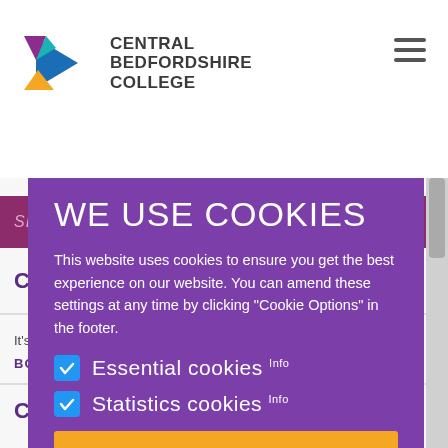[Figure (logo): Central Bedfordshire College logo with a star/arrow shape in blue, orange and purple colors, and the college name in dark bold text.]
WE USE COOKIES
This website uses cookies to ensure you get the best experience on our website. You can amend these settings at any time by clicking "Cookie Options" in the footer.
Essential cookies Info
Statistics cookies Info
ACCEPT THESE COOKIES